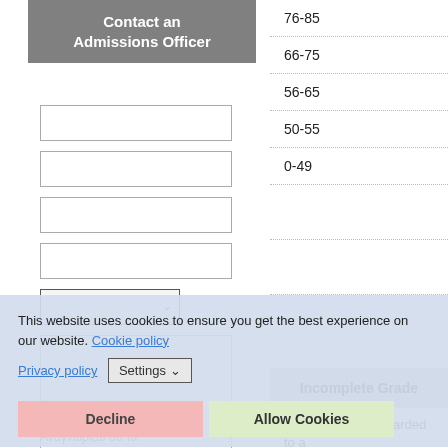Contact an Admissions Officer
[Figure (screenshot): Web form with text input fields, a dropdown select, and a textarea for contacting an admissions officer]
| Score Range |
| --- |
| 76-85 |
| 66-75 |
| 56-65 |
| 50-55 |
| 0-49 |
|  |
|  |
This website uses cookies to ensure you get the best experience on our website. Cookie policy
Privacy policy   Settings
Decline   Allow Cookies
Incomplete Grade
The grade "I" is awarded to a